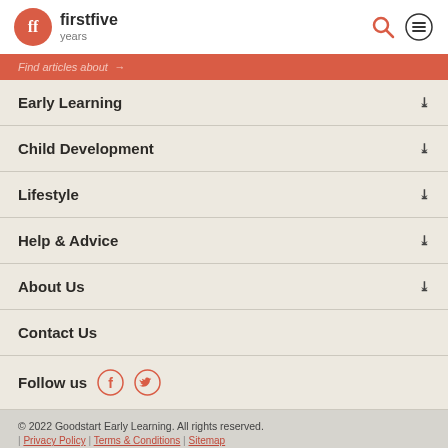firstfive years
Find articles about →
Early Learning
Child Development
Lifestyle
Help & Advice
About Us
Contact Us
Follow us
© 2022 Goodstart Early Learning. All rights reserved. | Privacy Policy | Terms & Conditions | Sitemap